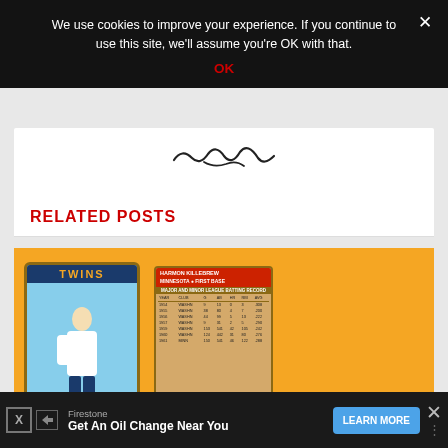We use cookies to improve your experience. If you continue to use this site, we'll assume you're OK with that.
OK
[Figure (illustration): Partial view of a white card area with a handwritten signature in black ink]
RELATED POSTS
[Figure (photo): Baseball card for Harmon Killebrew, Minnesota Twins, showing front (player in Twins uniform) and back (Major and Minor League Batting Record stats table) on yellow/orange background]
[Figure (advertisement): Firestone advertisement: Get An Oil Change Near You, with LEARN MORE button]